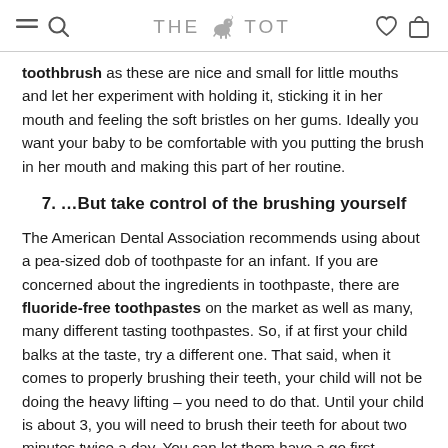THE TOT
toothbrush as these are nice and small for little mouths and let her experiment with holding it, sticking it in her mouth and feeling the soft bristles on her gums. Ideally you want your baby to be comfortable with you putting the brush in her mouth and making this part of her routine.
7. …But take control of the brushing yourself
The American Dental Association recommends using about a pea-sized dob of toothpaste for an infant. If you are concerned about the ingredients in toothpaste, there are fluoride-free toothpastes on the market as well as many, many different tasting toothpastes. So, if at first your child balks at the taste, try a different one. That said, when it comes to properly brushing their teeth, your child will not be doing the heavy lifting – you need to do that. Until your child is about 3, you will need to brush their teeth for about two minutes twice a day. You can let them have a go first